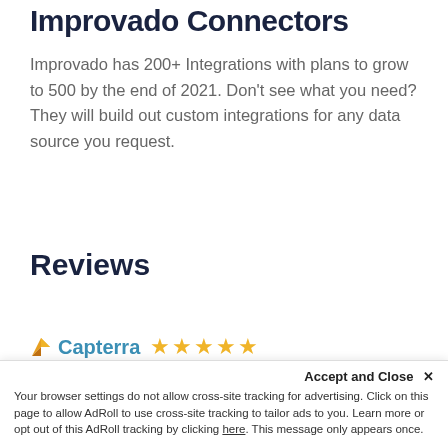Improvado Connectors
Improvado has 200+ Integrations with plans to grow to 500 by the end of 2021. Don't see what you need? They will build out custom integrations for any data source you request.
Reviews
[Figure (logo): Capterra logo with arrow icon followed by the word Capterra and 5 gold stars]
Its amazing how Improvado had the ability to get us
Accept and Close ×
Your browser settings do not allow cross-site tracking for advertising. Click on this page to allow AdRoll to use cross-site tracking to tailor ads to you. Learn more or opt out of this AdRoll tracking by clicking here. This message only appears once.